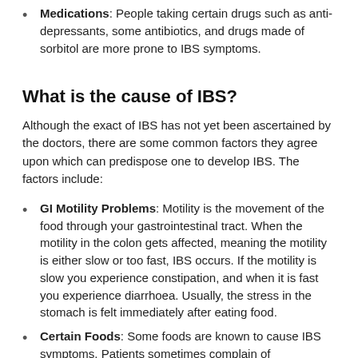Medications: People taking certain drugs such as anti-depressants, some antibiotics, and drugs made of sorbitol are more prone to IBS symptoms.
What is the cause of IBS?
Although the exact of IBS has not yet been ascertained by the doctors, there are some common factors they agree upon which can predispose one to develop IBS. The factors include:
GI Motility Problems: Motility is the movement of the food through your gastrointestinal tract. When the motility in the colon gets affected, meaning the motility is either slow or too fast, IBS occurs. If the motility is slow you experience constipation, and when it is fast you experience diarrhoea. Usually, the stress in the stomach is felt immediately after eating food.
Certain Foods: Some foods are known to cause IBS symptoms. Patients sometimes complain of aggravation in symptoms after consuming certain foods such as fatty foods, spicy foods, beans, cauliflower, cabbage, milk and